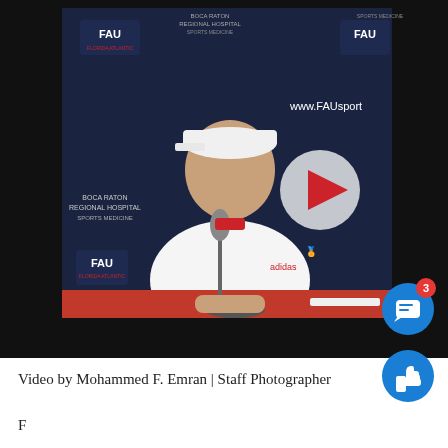[Figure (screenshot): Video thumbnail of a man in a white FAU polo shirt and white cap sitting at a press conference table with a microphone. FAU sports banners visible in the background. A play button overlay appears in the center-right of the image.]
Video by Mohammed F. Emran | Staff Photographer
Foo...